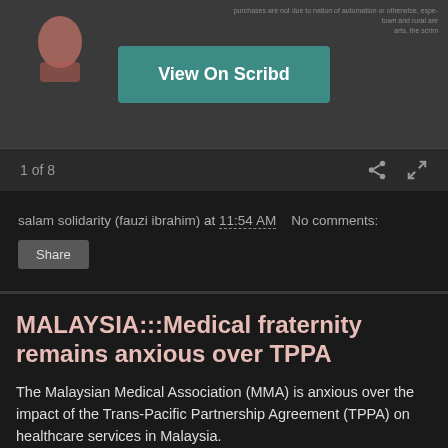[Figure (screenshot): Scribd document viewer preview with 'View On Scribd' teal button overlay]
1 of 8
salam solidarity (fauzi ibrahim) at 11:54 AM   No comments:
Share
MALAYSIA:::Medical fraternity remains anxious over TPPA
The Malaysian Medical Association (MMA) is anxious over the impact of the Trans-Pacific Partnership Agreement (TPPA) on healthcare services in Malaysia.
[Figure (photo): Small broken image placeholder thumbnail]
MMA president Datuk Dr N.K.S. Tharmaseelan (picture) said an